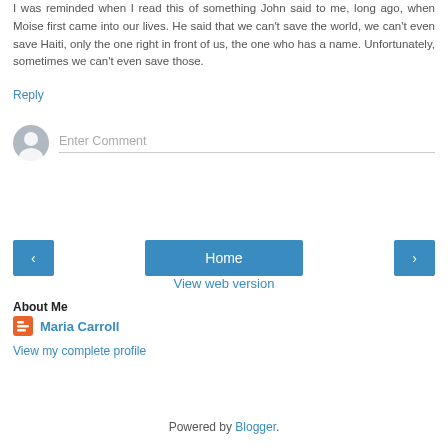I was reminded when I read this of something John said to me, long ago, when Moise first came into our lives. He said that we can't save the world, we can't even save Haiti, only the one right in front of us, the one who has a name. Unfortunately, sometimes we can't even save those.
Reply
[Figure (other): User avatar placeholder icon (grey circle with person silhouette) next to an Enter Comment input field]
[Figure (other): Navigation bar with left arrow button, Home button, and right arrow button]
View web version
About Me
Maria Carroll
View my complete profile
Powered by Blogger.